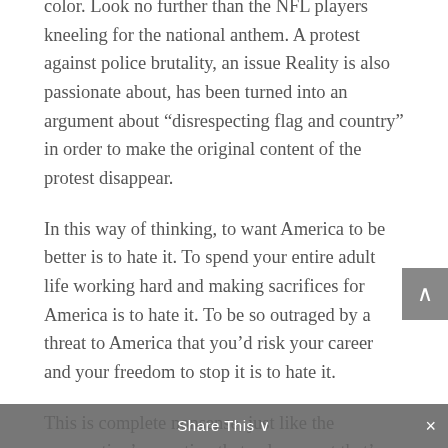color. Look no further than the NFL players kneeling for the national anthem. A protest against police brutality, an issue Reality is also passionate about, has been turned into an argument about “disrespecting flag and country” in order to make the original content of the protest disappear.
In this way of thinking, to want America to be better is to hate it. To spend your entire adult life working hard and making sacrifices for America is to hate it. To be so outraged by a threat to America that you’d risk your career and your freedom to stop it is to hate it.
This is complete nonsense, just like the prosecution’s assertion that a document that’s been available to the public for months should
Share This ∨